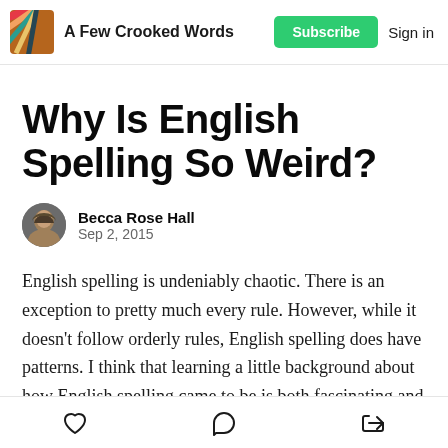A Few Crooked Words | Subscribe | Sign in
Why Is English Spelling So Weird?
Becca Rose Hall
Sep 2, 2015
English spelling is undeniably chaotic. There is an exception to pretty much every rule. However, while it doesn't follow orderly rules, English spelling does have patterns. I think that learning a little background about how English spelling came to be is both fascinating and